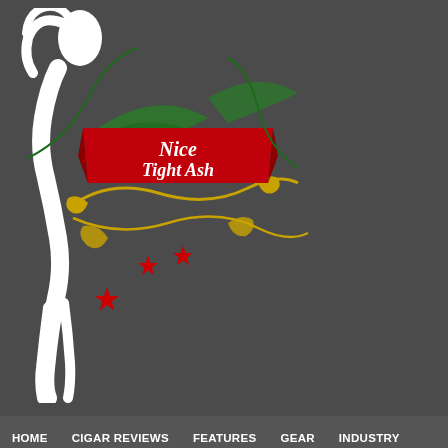[Figure (logo): Nice Tight Ash website logo with decorative script lettering on red banner, white silhouette figure, green leaves, gold ornamental scrollwork, and red star accents on dark background]
HOME   CIGAR REVIEWS   FEATURES   GEAR   INDUSTRY
??????? ????? ?? ????????? ?????? ???? ????? – ?????
Posted by Chris December 3, 2020
??? ???????? ????????? ??? ? ??????, ?????? ?????? ???????? ??? ??.
??? ????????? ????? ??????, ???????????? ????? ?? 3 ??????, ????? ??? ??????????? ????????? 3 ? ???????. ???????? ????????? ???????? ?????? ???? ???? ????????? ???????? ?? ??????? ?? 5 ?????????, ??, ???????, ?